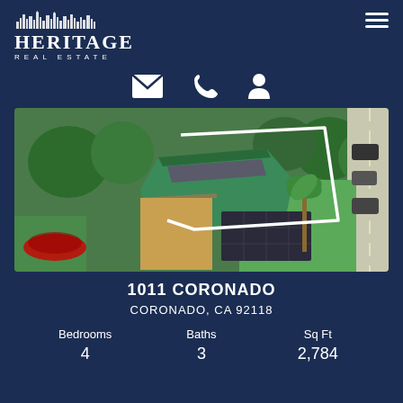[Figure (logo): Heritage Real Estate logo with skyline silhouette above bold serif HERITAGE text and REAL ESTATE subtitle in spaced caps]
[Figure (infographic): Three white icons in a row: envelope (email), phone handset, and person/user silhouette]
[Figure (photo): Aerial drone photograph of a residential property at 1011 Coronado, Coronado CA, showing a green house with solar panels on roof, surrounded by trees, with a white property boundary outline drawn on image]
1011 CORONADO
CORONADO, CA 92118
| Bedrooms | Baths | Sq Ft |
| --- | --- | --- |
| 4 | 3 | 2,784 |